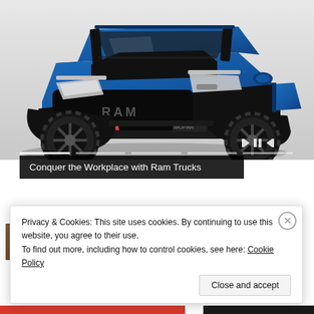[Figure (photo): Blue Ram Power Wagon heavy-duty pickup truck with black grille, off-road tires, winch on front bumper, and RAM lettering on grille, photographed from a front three-quarter angle against a light background.]
Conquer the Workplace with Ram Trucks
[Figure (photo): Small thumbnail image partially visible, appears to be a person, brown tones.]
[Th...] M... L... 1 1 Y... Ol...
Privacy & Cookies: This site uses cookies. By continuing to use this website, you agree to their use.
To find out more, including how to control cookies, see here: Cookie Policy
Close and accept